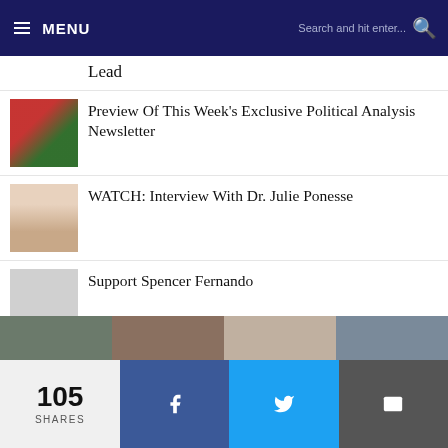MENU | Search and hit enter...
Lead
Preview Of This Week's Exclusive Political Analysis Newsletter
WATCH: Interview With Dr. Julie Ponesse
Support Spencer Fernando
Foreign Investors Are Taking Their Money Out Of Canadian Stocks
Why Hasn't Ahmed Hussen Resigned Yet?
105 SHARES
[Figure (screenshot): Strip of thumbnail images at bottom of page]